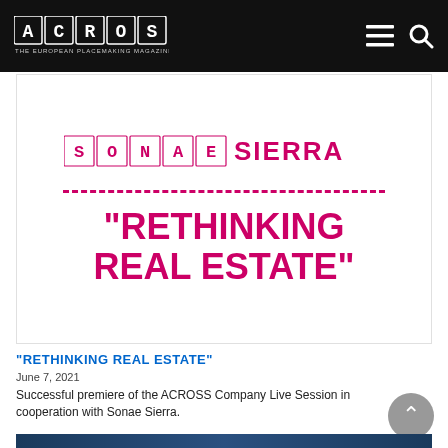ACROSS — THE EUROPEAN PLACEMAKING MAGAZINE
[Figure (logo): Sonae Sierra advertisement card with pixelated SONAE SIERRA logo, dashed divider line, and large magenta heading: "RETHINKING REAL ESTATE"]
"RETHINKING REAL ESTATE"
June 7, 2021
Successful premiere of the ACROSS Company Live Session in cooperation with Sonae Sierra.